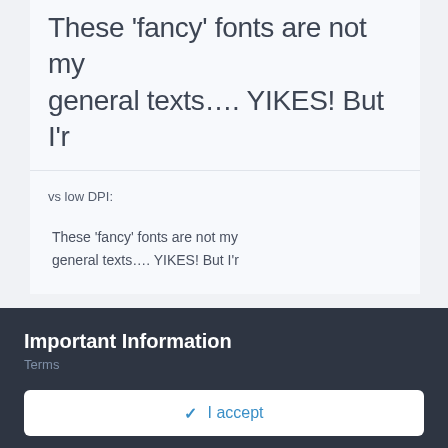These 'fancy' fonts are not my general texts.... YIKES! But I'r
vs low DPI:
These 'fancy' fonts are not my
general texts.... YIKES! But I'r
Important Information
Terms
✓ I accept